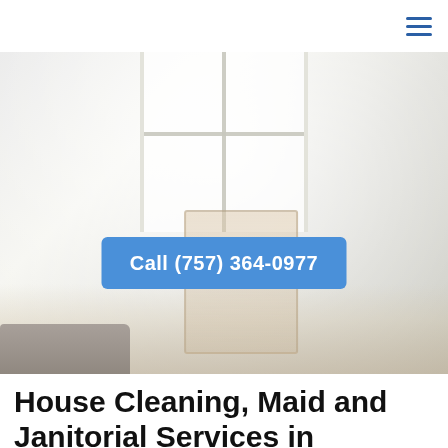≡
[Figure (photo): Bright, light-filled living room with white walls, windows, cleaning cart/trolley in center, tufted ottoman at bottom left. Blue call-to-action button overlaid reading 'Call (757) 364-0977']
House Cleaning, Maid and Janitorial Services in Chesapeake